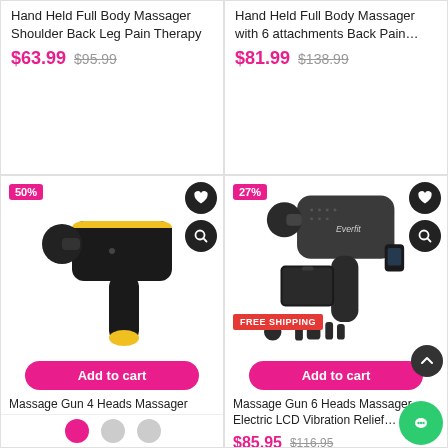Hand Held Full Body Massager Shoulder Back Leg Pain Therapy
$63.99  $95.99
Hand Held Full Body Massager with 6 attachments Back Pain…
$81.99  $138.99
[Figure (photo): Black and yellow massage gun product photo, 50% discount badge, with heart and search icons]
Add to cart
Massage Gun 4 Heads Massager Vibration Muscle Percussion…
$103.95  $209.95
[Figure (photo): Black Everfit massage gun with 6 heads and carrying case, 27% discount badge, FREE SHIPPING badge]
Add to cart
Massage Gun 6 Heads Massager Electric LCD Vibration Relief…
$85.95  $116.95